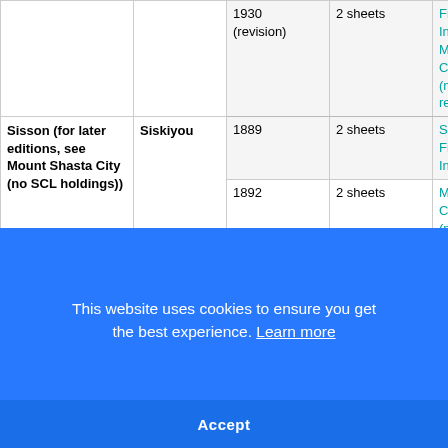| City | County | Year | Sheets | Links |
| --- | --- | --- | --- | --- |
|  |  | 1930 (revision) | 2 sheets | Fire Insurance Map Ca (microfilm req) |
| Sisson (for later editions, see Mount Shasta City (no SCL holdings)) | Siskiyou | 1889 | 2 sheets | Sa Fire Insurance Ma Ca (microfilm req) |
|  |  | 1892 | 2 sheets |  |
|  |  | 1897 | 7 sheets |  |
|  |  | 1905 | 10 sheets |  |
|  |  | (revision) |  | Sa Fire Insurance Ma Ca |
This website uses cookies to ensure you get the best experience. Learn more
Accept